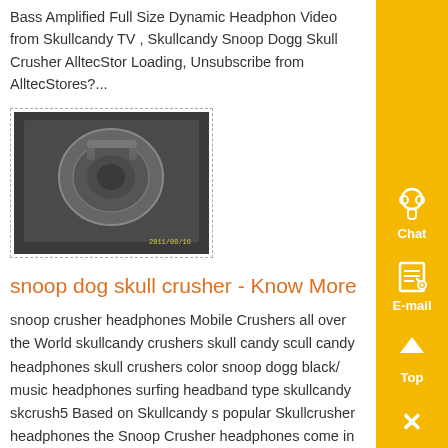Bass Amplified Full Size Dynamic Headphon Video from Skullcandy TV , Skullcandy Snoop Dogg Skull Crusher AlltecStor Loading, Unsubscribe from AlltecStores?...
[Figure (photo): Photo of a Skullcandy Snoop Dogg Skull Crusher headphone product, shown in dark packaging or case, with a timestamp visible in the lower right corner.]
snoop dog skull crusher - Know More
snoop crusher headphones Mobile Crushers all over the World skullcandy crushers skull candy scull candy headphones skull crushers color snoop dogg black/ music headphones surfing headband type skullcandy skcrush5 Based on Skullcandy s popular Skullcrusher headphones the Snoop Crusher headphones come in Snoop s gang colors of blue and black and in a bandanna design snoop dog skull crusher...